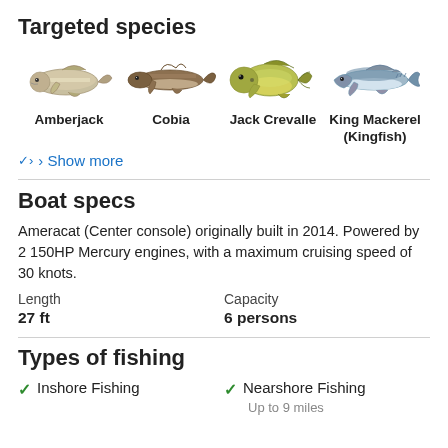Targeted species
[Figure (illustration): Four fish illustrations: Amberjack, Cobia, Jack Crevalle, King Mackerel (Kingfish)]
Amberjack
Cobia
Jack Crevalle
King Mackerel (Kingfish)
Show more
Boat specs
Ameracat (Center console) originally built in 2014. Powered by 2 150HP Mercury engines, with a maximum cruising speed of 30 knots.
| Length | Capacity |
| --- | --- |
| 27 ft | 6 persons |
Types of fishing
Inshore Fishing
Nearshore Fishing
Up to 9 miles